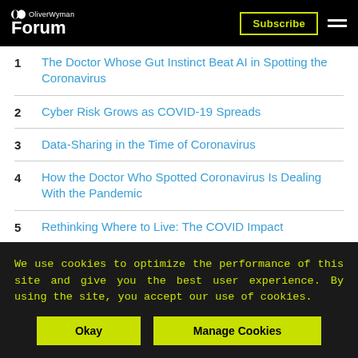OliverWyman Forum | Subscribe
1. The Doctor Whose Gut Instinct Beat AI in Spotting the Coronavirus
2. Cyber Risk Grows as COVID-19 Spreads
3. Data-Sharing in the Time of Coronavirus
4. How the Doctor Who Spotted Coronavirus Is Dealing With the Pandemic
5. Rethinking Where to Live: The COVID Impact
We Need to Start Teaching Young Children About...
We use cookies to optimize the performance of this site and give you the best user experience. By using the site, you accept our use of cookies.
Okay | Manage Cookies